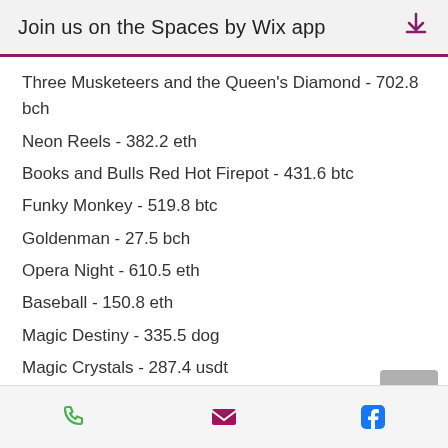Join us on the Spaces by Wix app
Three Musketeers and the Queen's Diamond - 702.8 bch
Neon Reels - 382.2 eth
Books and Bulls Red Hot Firepot - 431.6 btc
Funky Monkey - 519.8 btc
Goldenman - 27.5 bch
Opera Night - 610.5 eth
Baseball - 150.8 eth
Magic Destiny - 335.5 dog
Magic Crystals - 287.4 usdt
Videoslots, card and board games:
Oshi Casino Mexico Wins
Sportsbet.io Frogged
BetChain Casino Jazz It Up
CryptoGames Angel's Touch